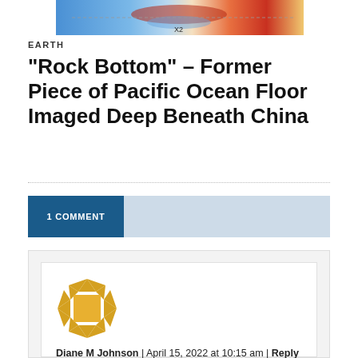[Figure (photo): Scientific image showing seismic wave data visualization with color gradient from blue to red, labeled X2, partial view cropped at top of page]
EARTH
“Rock Bottom” – Former Piece of Pacific Ocean Floor Imaged Deep Beneath China
1 COMMENT
[Figure (illustration): Golden/yellow geometric avatar icon with diamond pattern and central square, representing user Diane M Johnson]
Diane M Johnson | April 15, 2022 at 10:15 am | Reply
Please unsubscribe